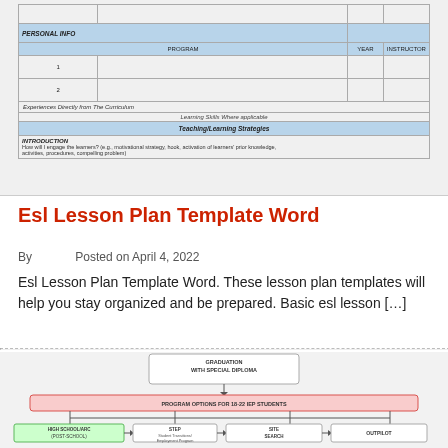[Figure (table-as-image): Blurred lesson plan template table with blue header rows, columns for Program, Year, Instructor, rows numbered 1 and 2, section for Experiences Directly from the Curriculum, Learning Skills Where applicable, Teaching/Learning Strategies, Introduction, and instructional strategy prompt text.]
Esl Lesson Plan Template Word
By   Posted on April 4, 2022
Esl Lesson Plan Template Word. These lesson plan templates will help you stay organized and be prepared. Basic esl lesson […]
[Figure (flowchart): Blurred flowchart showing graduation with special diploma at top, program options for 18-22 IEP students in pink box, then four branches: High School/ARC (Post-School), STEP (Student Transitions/Employment Program), SITE Search, and Outpilot, with bullet points below each.]